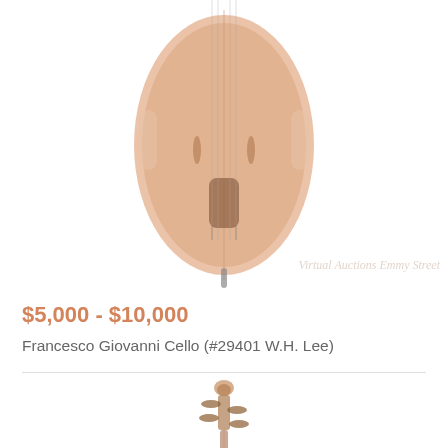[Figure (photo): Bottom portion of a cello seen from front, warm peach/amber varnish, showing lower bout, tailpiece and end pin, cropped at top of image]
Virtual Auctions Emmy Street
$5,000 - $10,000
Francesco Giovanni Cello (#29401 W.H. Lee)
[Figure (photo): Front view of a cello showing scroll, pegbox with tuning pegs, neck, and upper portion of the body with warm amber varnish]